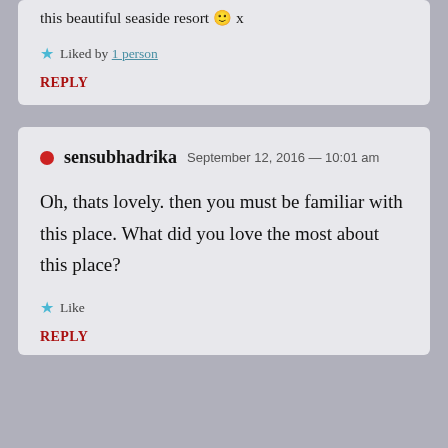this beautiful seaside resort 🙂 x
Liked by 1 person
REPLY
sensubhadrika  September 12, 2016 — 10:01 am
Oh, thats lovely. then you must be familiar with this place. What did you love the most about this place?
Like
REPLY